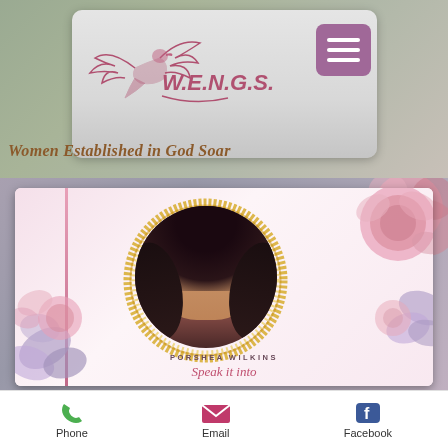[Figure (logo): W.E.N.G.S. logo with stylized bird/dove and text, Women Established in God Soar organization logo]
Women Established in God Soar
[Figure (photo): Promotional card for Porshea Wilkins featuring a portrait photo of a woman with long dark hair in a gold circular frame, with pink and purple floral decorations]
Phone   Email   Facebook